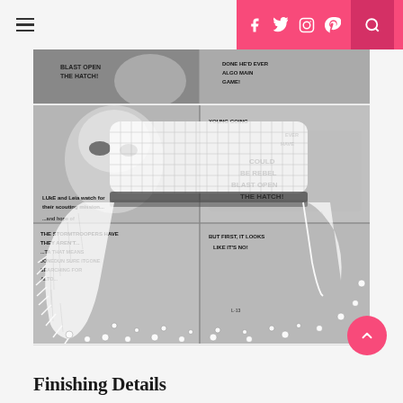Navigation menu | Social icons: Facebook, Twitter, Instagram, Pinterest | Search
[Figure (photo): Partial view of a comic book page in black and white, cropped at top]
[Figure (photo): A white crocheted or knitted piece shaped like a Stormtrooper helmet laid on top of a black and white Star Wars comic book page, with pins holding beads along the edges]
Finishing Details